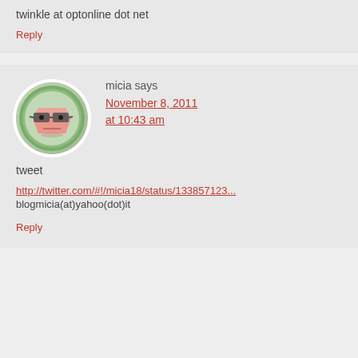twinkle at optonline dot net
Reply
micia says
November 8, 2011 at 10:43 am
[Figure (illustration): Avatar icon: cartoon face with glasses on green circular background]
tweet
http://twitter.com/#!/micia18/status/133857123...
blogmicia(at)yahoo(dot)it
Reply